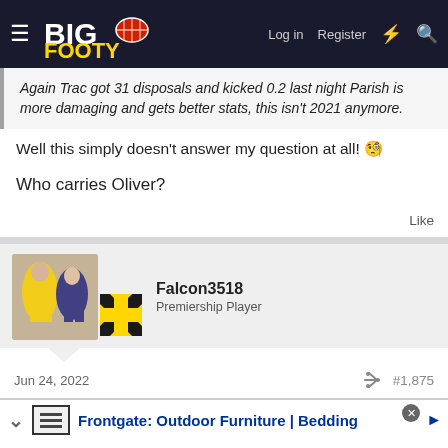BigFooty — Log in | Register
Again Trac got 31 disposals and kicked 0.2 last night Parish is more damaging and gets better stats, this isn't 2021 anymore.
Well this simply doesn't answer my question at all! 🤩
Who carries Oliver?
Like
Falcon3518
Premiership Player
Jun 24, 2022  #1,875
Frontgate: Outdoor Furniture | Bedding